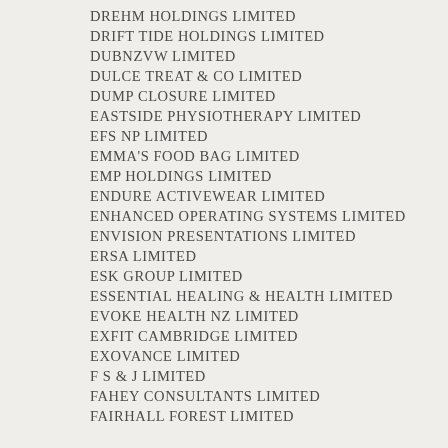DREHM HOLDINGS LIMITED
DRIFT TIDE HOLDINGS LIMITED
DUBNZVW LIMITED
DULCE TREAT & CO LIMITED
DUMP CLOSURE LIMITED
EASTSIDE PHYSIOTHERAPY LIMITED
EFS NP LIMITED
EMMA'S FOOD BAG LIMITED
EMP HOLDINGS LIMITED
ENDURE ACTIVEWEAR LIMITED
ENHANCED OPERATING SYSTEMS LIMITED
ENVISION PRESENTATIONS LIMITED
ERSA LIMITED
ESK GROUP LIMITED
ESSENTIAL HEALING & HEALTH LIMITED
EVOKE HEALTH NZ LIMITED
EXFIT CAMBRIDGE LIMITED
EXOVANCE LIMITED
F S & J LIMITED
FAHEY CONSULTANTS LIMITED
FAIRHALL FOREST LIMITED